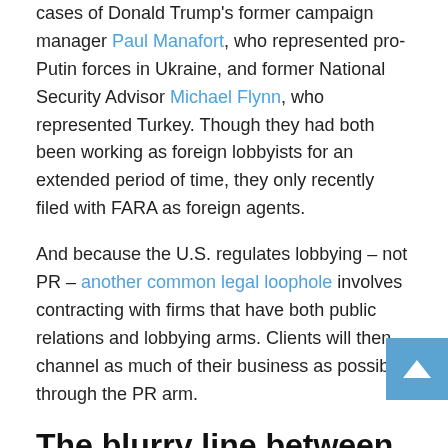cases of Donald Trump's former campaign manager Paul Manafort, who represented pro-Putin forces in Ukraine, and former National Security Advisor Michael Flynn, who represented Turkey. Though they had both been working as foreign lobbyists for an extended period of time, they only recently filed with FARA as foreign agents.
And because the U.S. regulates lobbying – not PR – another common legal loophole involves contracting with firms that have both public relations and lobbying arms. Clients will then channel as much of their business as possible through the PR arm.
The blurry line between PR and news
PR is more concerned by the proximity to journalism in the U.S. M...